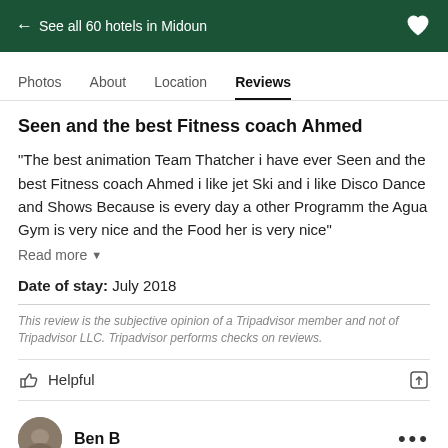← See all 60 hotels in Midoun
Photos  About  Location  Reviews
Seen and the best Fitness coach Ahmed
“The best animation Team Thatcher i have ever Seen and the best Fitness coach Ahmed i like jet Ski and i like Disco Dance and Shows Because is every day a other Programm the Agua Gym is very nice and the Food her is very nice”
Read more
Date of stay: July 2018
This review is the subjective opinion of a Tripadvisor member and not of Tripadvisor LLC. Tripadvisor performs checks on reviews.
Helpful
Ben B